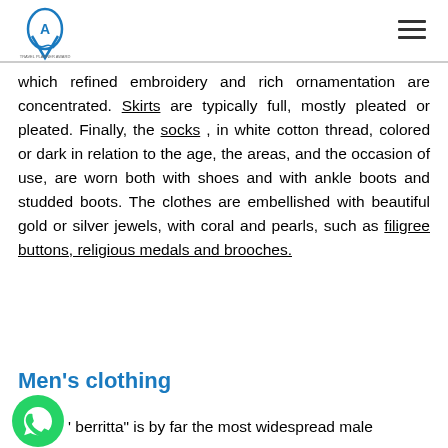Travel Planner Award logo and hamburger menu
which refined embroidery and rich ornamentation are concentrated. Skirts are typically full, mostly pleated or pleated. Finally, the socks , in white cotton thread, colored or dark in relation to the age, the areas, and the occasion of use, are worn both with shoes and with ankle boots and studded boots. The clothes are embellished with beautiful gold or silver jewels, with coral and pearls, such as filigree buttons, religious medals and brooches.
Men's clothing
[Figure (logo): WhatsApp green circle icon]
"berritta" is by far the most widespread male